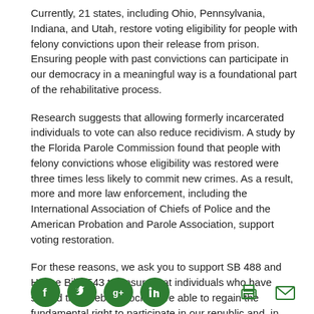Currently, 21 states, including Ohio, Pennsylvania, Indiana, and Utah, restore voting eligibility for people with felony convictions upon their release from prison. Ensuring people with past convictions can participate in our democracy in a meaningful way is a foundational part of the rehabilitative process.
Research suggests that allowing formerly incarcerated individuals to vote can also reduce recidivism. A study by the Florida Parole Commission found that people with felony convictions whose eligibility was restored were three times less likely to commit new crimes. As a result, more and more law enforcement, including the International Association of Chiefs of Police and the American Probation and Parole Association, support voting restoration.
For these reasons, we ask you to support SB 488 and House Bill 4543 to ensure that individuals who have served their debt to society are able to regain the fundamental right to participate in our republic and, in doing so, are better empowered to successfully reenter society.
[Figure (infographic): Social media share icons: Facebook, Twitter, Google+, LinkedIn (green circles), and print/email icons on the right]